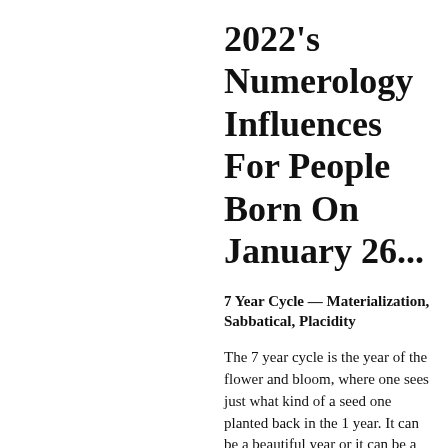2022's Numerology Influences For People Born On January 26...
7 Year Cycle — Materialization, Sabbatical, Placidity
The 7 year cycle is the year of the flower and bloom, where one sees just what kind of a seed one planted back in the 1 year. It can be a beautiful year or it can be a